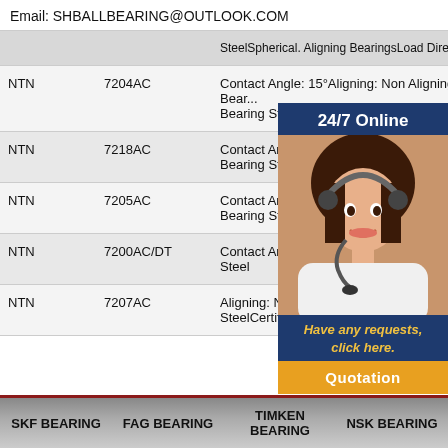Email: SHBALLBEARING@OUTLOOK.COM
|  | SteelSpherical. Aligning BearingsLoad Direc... |
| --- | --- |
| NTN | 7204AC | Contact Angle: 15°Aligning: Non Aligning Bear... Bearing Steel |
| NTN | 7218AC | Contact Angle: 15°Alig... Bearing Steel |
| NTN | 7205AC | Contact Angle: 15°Alig... Bearing Steel |
| NTN | 7200AC/DT | Contact Angle: 25°Alig... Steel |
| NTN | 7207AC | Aligning: Non Aligning B... SteelCertificate: SGS &... |
[Figure (illustration): Customer service representative with headset, overlaid with '24/7 Online' header, 'Have any requests, click here.' text, and 'Quotation' button]
SKF BEARING   FAG BEARING   TIMKEN BEARING   NSK BEARING